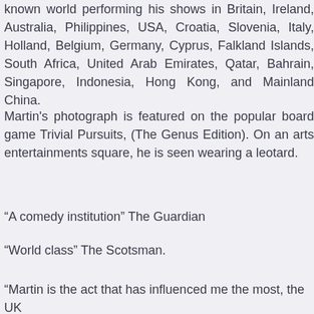known world performing his shows in Britain, Ireland, Australia, Philippines, USA, Croatia, Slovenia, Italy, Holland, Belgium, Germany, Cyprus, Falkland Islands, South Africa, United Arab Emirates, Qatar, Bahrain, Singapore, Indonesia, Hong Kong, and Mainland China.
Martin's photograph is featured on the popular board game Trivial Pursuits, (The Genus Edition). On an arts entertainments square, he is seen wearing a leotard.
“A comedy institution” The Guardian
“World class” The Scotsman.
“Martin is the act that has influenced me the most, the UK